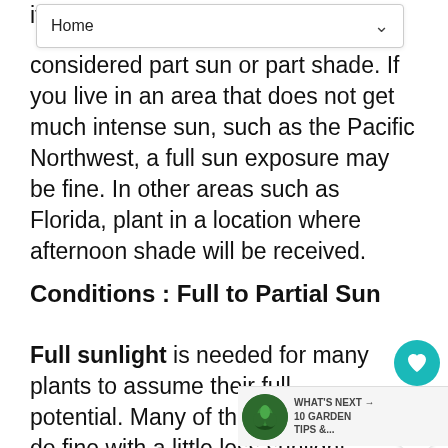Home
it is considered part sun or part shade. If you live in an area that does not get much intense sun, such as the Pacific Northwest, a full sun exposure may be fine. In other areas such as Florida, plant in a location where afternoon shade will be received.
Conditions : Full to Partial Sun
Full sunlight is needed for many plants to assume their full potential. Many of these plants will do fine with a little less sunlight, although they may not flower as heavily or their foliage as vibrant. Areas on the southern and western sides of buildings usually are the
WHAT'S NEXT → 10 GARDEN TIPS &...